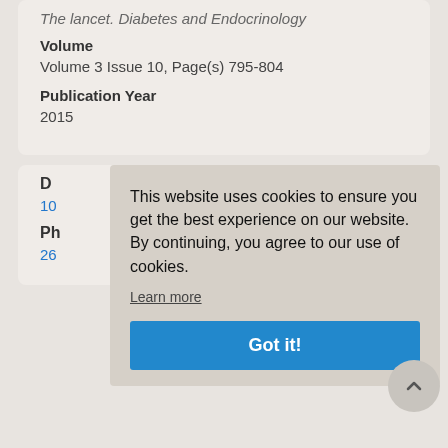The lancet. Diabetes and Endocrinology
Volume
Volume 3 Issue 10, Page(s) 795-804
Publication Year
2015
D
10
Ph
26
This website uses cookies to ensure you get the best experience on our website. By continuing, you agree to our use of cookies.
Learn more
Got it!